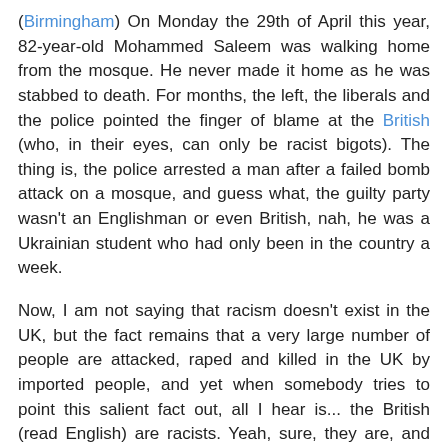(Birmingham) On Monday the 29th of April this year, 82-year-old Mohammed Saleem was walking home from the mosque. He never made it home as he was stabbed to death. For months, the left, the liberals and the police pointed the finger of blame at the British (who, in their eyes, can only be racist bigots). The thing is, the police arrested a man after a failed bomb attack on a mosque, and guess what, the guilty party wasn't an Englishman or even British, nah, he was a Ukrainian student who had only been in the country a week.
Now, I am not saying that racism doesn't exist in the UK, but the fact remains that a very large number of people are attacked, raped and killed in the UK by imported people, and yet when somebody tries to point this salient fact out, all I hear is... the British (read English) are racists. Yeah, sure, they are, and the white couple who adopted me and took me into their family are racist bigots also. Meanwhile, the murderer of Mohammed Saleem, 25-year-old Pavlo Lapshyn, has explained the reason why he went on a murderous spree as soon as he arrived in the UK. He told police: